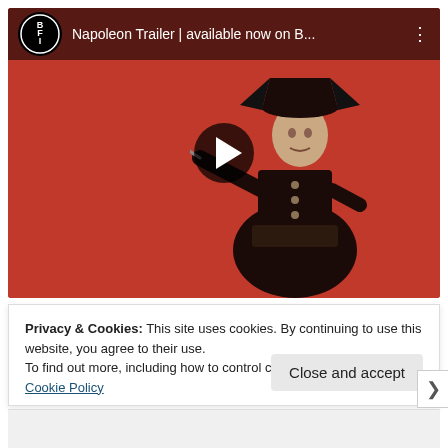[Figure (screenshot): YouTube-style embedded video player showing a Napoleon movie trailer. The BFI logo appears in the top-left. Title reads 'Napoleon Trailer | available now on B...'. A figure dressed as Napoleon in military uniform holding a sword stands against a red background. A play button is visible in the center.]
Privacy & Cookies: This site uses cookies. By continuing to use this website, you agree to their use.
To find out more, including how to control cookies, see here: Our Cookie Policy
Close and accept